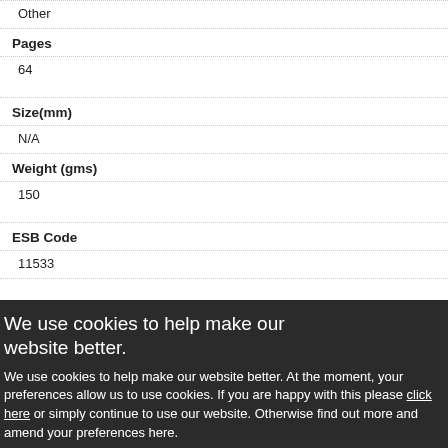Other
Pages
64
Size(mm)
N/A
Weight (gms)
150
ESB Code
11533
We use cookies to help make our website better.
We use cookies to help make our website better. At the moment, your preferences allow us to use cookies. If you are happy with this please click here or simply continue to use our website. Otherwise find out more and amend your preferences here.